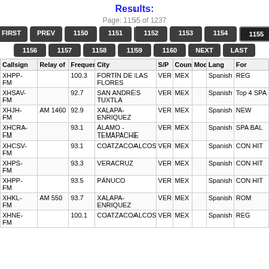Results:
Page: 1155 of 1237
FIRST PREV 1150 1151 1152 1153 1154 1155 1156 1157 1158 1159 1160 NEXT LAST
| Callsign | Relay of | Frequency | City | S/P | Country | Mode | Lang | Form |
| --- | --- | --- | --- | --- | --- | --- | --- | --- |
| XHPP-FM |  | 100.3 | FORTÍN DE LAS FLORES | VER | MEX |  | Spanish | REG |
| XHSAV-FM |  | 92.7 | SAN ANDRÉS TUXTLA | VER | MEX |  | Spanish | Top 4 SPA |
| XHJH-FM | AM 1460 | 92.9 | XALAPA-ENRIQUEZ | VER | MEX |  | Spanish | NEW |
| XHCRA-FM |  | 93.1 | ÁLAMO - TEMAPACHE | VER | MEX |  | Spanish | SPA BAL |
| XHCSV-FM |  | 93.1 | COATZACOALCOS | VER | MEX |  | Spanish | CON HIT |
| XHPS-FM |  | 93.3 | VERACRUZ | VER | MEX |  | Spanish | CON HIT |
| XHPP-FM |  | 93.5 | PÁNUCO | VER | MEX |  | Spanish | CON HIT |
| XHKL-FM | AM 550 | 93.7 | XALAPA-ENRIQUEZ | VER | MEX |  | Spanish | ROM |
| XHNE-FM |  | 100.1 | COATZACOALCOS | VER | MEX |  | Spanish | REG |